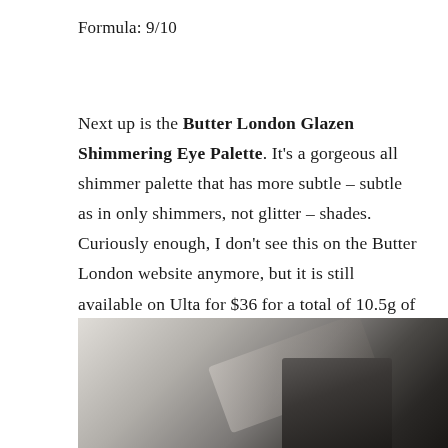Formula: 9/10
Next up is the Butter London Glazen Shimmering Eye Palette. It’s a gorgeous all shimmer palette that has more subtle – subtle as in only shimmers, not glitter – shades. Curiously enough, I don’t see this on the Butter London website anymore, but it is still available on Ulta for $36 for a total of 10.5g of products (1.5 g each.) It’s a compact palette at 3×6 inches, but for the gorgeous finish, I say it’s worth it.
[Figure (photo): Close-up photo of the Butter London Glazen Shimmering Eye Palette compact, showing dark compact case with shimmer eyeshadow pans visible]